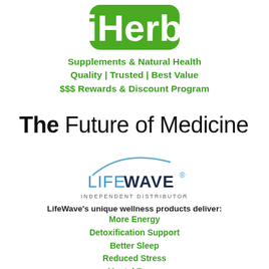[Figure (logo): iHerb logo: white text 'iHerb' on a green rounded rectangle background]
Supplements & Natural Health
Quality | Trusted | Best Value
$$$ Rewards & Discount Program
The Future of Medicine
[Figure (logo): LifeWave Independent Distributor logo with wave arc above LIFEWAVE text and INDEPENDENT DISTRIBUTOR below]
LifeWave's unique wellness products deliver:
More Energy
Detoxification Support
Better Sleep
Reduced Stress
Mental Focus
an overall feeling of youthful vitality